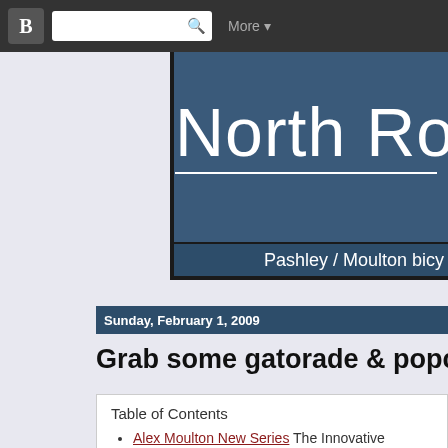Blogger top navigation bar with search
North Road
Pashley / Moulton bicycle
Sunday, February 1, 2009
Grab some gatorade & popcorn! We're wa
Table of Contents
Alex Moulton New Series The Innovative Engineer
Moulton F-Frame The Moulton that made the '60s
Pashley
Recumbent Sail Bike The canvas can do miracles: Just you wait a